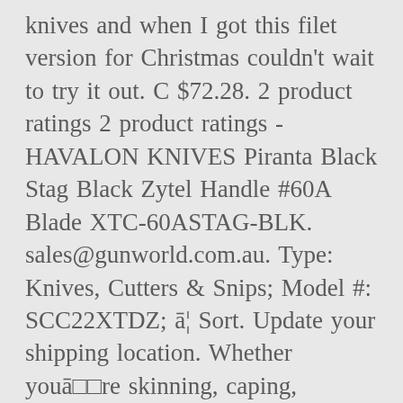knives and when I got this filet version for Christmas couldn't wait to try it out. C $72.28. 2 product ratings 2 product ratings - HAVALON KNIVES Piranta Black Stag Black Zytel Handle #60A Blade XTC-60ASTAG-BLK. sales@gunworld.com.au. Type: Knives, Cutters & Snips; Model #: SCC22XTDZ; ā¦ Sort. Update your shipping location. Whether youāre skinning, caping, quartering or doing any kind of field dressing work, the Bolt is the perfect knife for the job. '. Havalon Knives Quik-Change Skinner. It's sharp! Not sold in stores . When you need a tough, dependable knife to do the job, reach for the Havalon® Knives Piranta-Edge Replaceable Blade Folding Knife. Vos renseignements